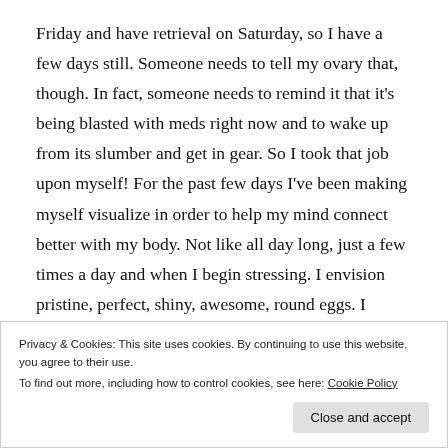Friday and have retrieval on Saturday, so I have a few days still. Someone needs to tell my ovary that, though. In fact, someone needs to remind it that it's being blasted with meds right now and to wake up from its slumber and get in gear. So I took that job upon myself! For the past few days I've been making myself visualize in order to help my mind connect better with my body. Not like all day long, just a few times a day and when I begin stressing. I envision pristine, perfect, shiny, awesome, round eggs. I imagine these flawless eggs tucked lovingly into my ovary, patiently awaiting the day the doctor carefully removes them to start them on their journey
Privacy & Cookies: This site uses cookies. By continuing to use this website, you agree to their use.
To find out more, including how to control cookies, see here: Cookie Policy